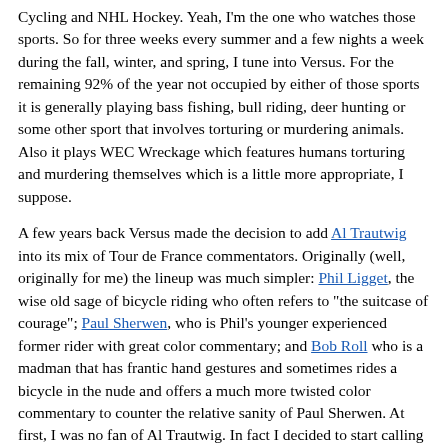Cycling and NHL Hockey. Yeah, I'm the one who watches those sports. So for three weeks every summer and a few nights a week during the fall, winter, and spring, I tune into Versus. For the remaining 92% of the year not occupied by either of those sports it is generally playing bass fishing, bull riding, deer hunting or some other sport that involves torturing or murdering animals. Also it plays WEC Wreckage which features humans torturing and murdering themselves which is a little more appropriate, I suppose.
A few years back Versus made the decision to add Al Trautwig into its mix of Tour de France commentators. Originally (well, originally for me) the lineup was much simpler: Phil Ligget, the wise old sage of bicycle riding who often refers to "the suitcase of courage"; Paul Sherwen, who is Phil's younger experienced former rider with great color commentary; and Bob Roll who is a madman that has frantic hand gestures and sometimes rides a bicycle in the nude and offers a much more twisted color commentary to counter the relative sanity of Paul Sherwen. At first, I was no fan of Al Trautwig. In fact I decided to start calling him Al Basshat, which at the time I thought was an extremely clever and cutting commentary on the lack of respect I had for the man and his function on the team combined with a brilliant twist on the phonetic breakdown of his last name. Eventually Trautwig grew on me during the Tour de France and as a commentator for the New York Rangers. So it was that I stripped him of my mark of shame